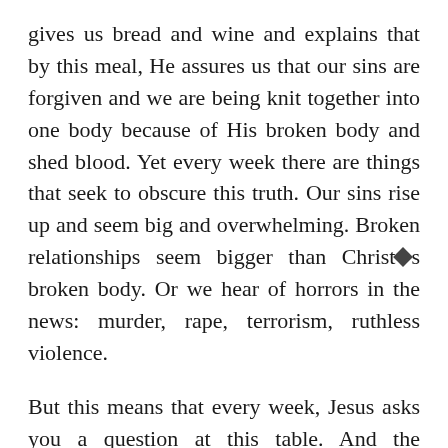gives us bread and wine and explains that by this meal, He assures us that our sins are forgiven and we are being knit together into one body because of His broken body and shed blood. Yet every week there are things that seek to obscure this truth. Our sins rise up and seem big and overwhelming. Broken relationships seem bigger than Christ's broken body. Or we hear of horrors in the news: murder, rape, terrorism, ruthless violence.
But this means that every week, Jesus asks you a question at this table. And the question is: Who do you believe? Who do you trust? What is the true reality? Is your sin the true reality? Is the brokenness in your life the greatest truth? Is the depravity of human nature the final word?